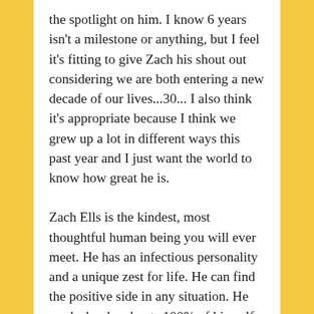the spotlight on him. I know 6 years isn't a milestone or anything, but I feel it's fitting to give Zach his shout out considering we are both entering a new decade of our lives...30... I also think it's appropriate because I think we grew up a lot in different ways this past year and I just want the world to know how great he is.
Zach Ells is the kindest, most thoughtful human being you will ever meet. He has an infectious personality and a unique zest for life. He can find the positive side in any situation. He works hard and puts 100% of himself into everything he does. He faces any problem head on and analyzes the solutions until he finds the right one. He'd do anything for anyone. When you speak, he listens closely to every word you say. He never judges others. It is so easy to be myself around him, no matter how weird that may be.